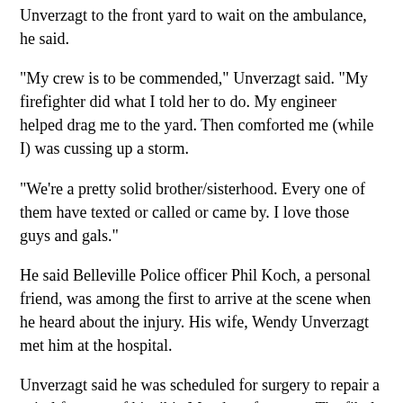Unverzagt to the front yard to wait on the ambulance, he said.
"My crew is to be commended," Unverzagt said. "My firefighter did what I told her to do. My engineer helped drag me to the yard. Then comforted me (while I) was cussing up a storm.
"We're a pretty solid brother/sisterhood. Every one of them have texted or called or came by. I love those guys and gals."
He said Belleville Police officer Phil Koch, a personal friend, was among the first to arrive at the scene when he heard about the injury. His wife, Wendy Unverzagt met him at the hospital.
Unverzagt said he was scheduled for surgery to repair a spiral fracture of his tibia Monday afternoon. The fibula